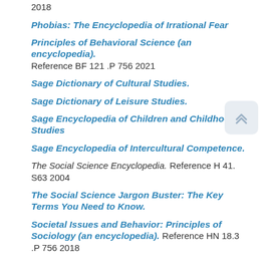2018
Phobias:  The Encyclopedia of Irrational Fear
Principles of Behavioral Science (an encyclopedia).  Reference  BF 121 .P 756 2021
Sage Dictionary of Cultural Studies.
Sage Dictionary of Leisure Studies.
Sage Encyclopedia of Children and Childhood Studies
Sage Encyclopedia of Intercultural Competence.
The Social Science Encyclopedia.  Reference H 41. S63 2004
The Social Science Jargon Buster: The Key Terms You Need to Know.
Societal Issues and Behavior:  Principles of Sociology (an encyclopedia).  Reference  HN 18.3 .P 756 2018